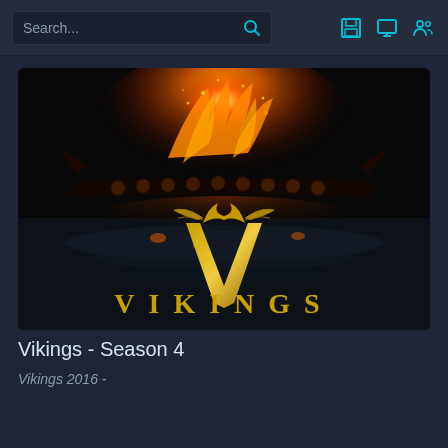Search...
[Figure (photo): Vikings TV show promotional image showing a burning longship on dark water with the VIKINGS logo in golden text below]
Vikings - Season 4
Vikings 2016 -